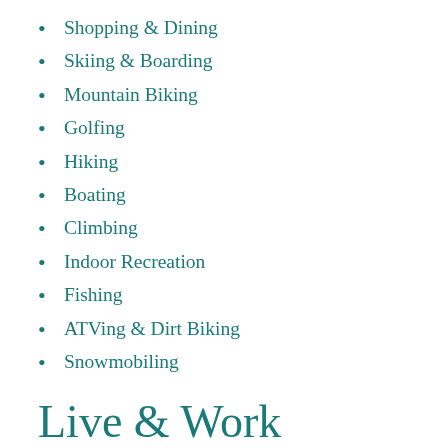Shopping & Dining
Skiing & Boarding
Mountain Biking
Golfing
Hiking
Boating
Climbing
Indoor Recreation
Fishing
ATVing & Dirt Biking
Snowmobiling
Live & Work
Nelson's Amenities